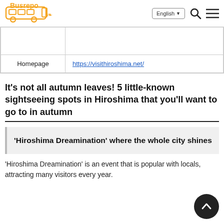Busrepo | English
|  |  |
| Homepage | https://visithiroshima.net/ |
It's not all autumn leaves! 5 little-known sightseeing spots in Hiroshima that you'll want to go to in autumn
'Hiroshima Dreamination' where the whole city shines
'Hiroshima Dreamination' is an event that is popular with locals, attracting many visitors every year.